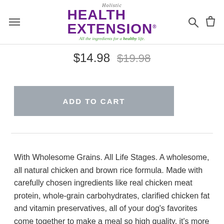[Figure (logo): Health Extension pet food brand logo. Shows 'Holistic' in italic script above bold purple 'HEALTH EXTENSION' text with registered trademark symbol, and green italic tagline 'All the ingredients for a healthy life.']
$14.98  $19.98
ADD TO CART
With Wholesome Grains. All Life Stages. A wholesome, all natural chicken and brown rice formula. Made with carefully chosen ingredients like real chicken meat protein, whole-grain carbohydrates, clarified chicken fat and vitamin preservatives, all of your dog's favorites come together to make a meal so high quality, it's more than 91% digestible. That means your companion will need to eat much less for full nourishment than most, all the ...